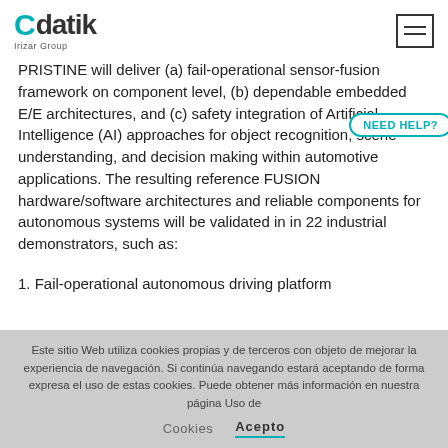Cdatik Irizar Group [logo] [menu icon]
PRISTINE will deliver (a) fail-operational sensor-fusion framework on component level, (b) dependable embedded E/E architectures, and (c) safety integration of Artificial Intelligence (AI) approaches for object recognition, scene understanding, and decision making within automotive applications. The resulting reference FUSION hardware/software architectures and reliable components for autonomous systems will be validated in in 22 industrial demonstrators, such as:
1. Fail-operational autonomous driving platform
Este sitio Web utiliza cookies propias y de terceros con objeto de mejorar la experiencia de navegación. Si continúa navegando estará aceptando de forma expresa el uso de estas cookies. Puede obtener más información en nuestra página Uso de Cookies   Acepto